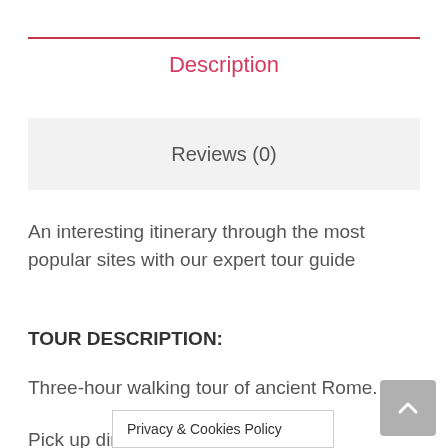Description
Reviews (0)
An interesting itinerary through the most popular sites with our expert tour guide
TOUR DESCRIPTION:
Three-hour walking tour of ancient Rome.
Pick up directly from your apartment (the order of the sites depends on where your apartment is).
Privacy & Cookies Policy